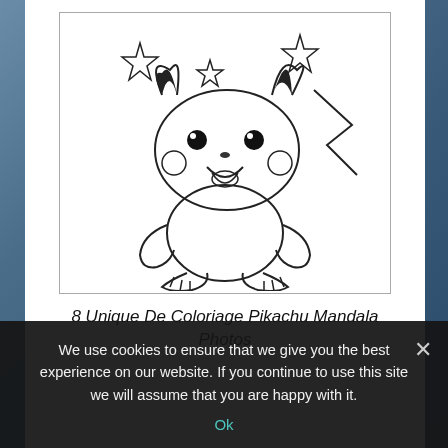[Figure (illustration): Line-art coloring page illustration of Pikachu (Pokemon character) sitting with arms out, mouth open, with three outline stars floating above it. Black and white drawing on white background with light border.]
8 Unique De Coloriage Pikachu Mandala Photos
We use cookies to ensure that we give you the best experience on our website. If you continue to use this site we will assume that you are happy with it.
Ok